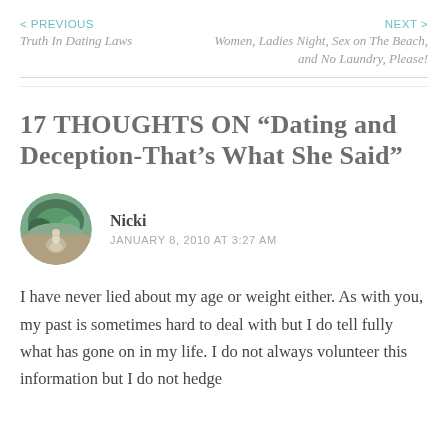< PREVIOUS
Truth In Dating Laws
NEXT >
Women, Ladies Night, Sex on The Beach, and No Laundry, Please!
17 thoughts on “Dating and Deception-That’s What She Said”
Nicki
JANUARY 8, 2010 AT 3:27 AM
I have never lied about my age or weight either. As with you, my past is sometimes hard to deal with but I do tell fully what has gone on in my life. I do not always volunteer this information but I do not hedge